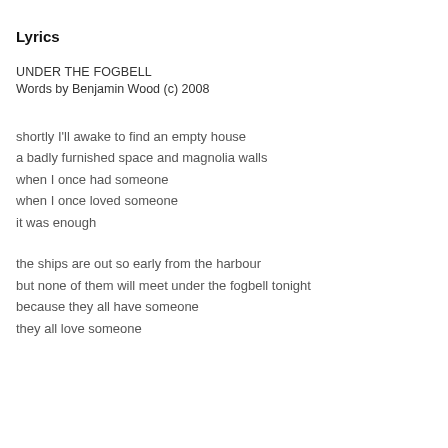Lyrics
UNDER THE FOGBELL
Words by Benjamin Wood (c) 2008
shortly I'll awake to find an empty house
a badly furnished space and magnolia walls
when I once had someone
when I once loved someone
it was enough
the ships are out so early from the harbour
but none of them will meet under the fogbell tonight
because they all have someone
they all love someone